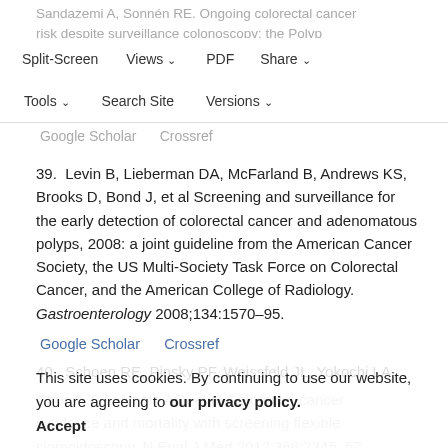Sandazemi A, Sonnén RE. Ongoing colorectal cancer risk despite surveillance colonoscopy: the Polyp Prevention Trial Continued Follow-up Study. Gastrointest Endosc 2012;375:46–7.
Split-Screen | Views | PDF | Share | Tools | Search Site | Versions
39. Levin B, Lieberman DA, McFarland B, Andrews KS, Brooks D, Bond J, et al Screening and surveillance for the early detection of colorectal cancer and adenomatous polyps, 2008: a joint guideline from the American Cancer Society, the US Multi-Society Task Force on Colorectal Cancer, and the American College of Radiology. Gastroenterology 2008;134:1570–95.
Google Scholar     Crossref
40. Schoen RE, Pinsky PF, Weissfeld JL, Yokochi LA, Church T, Laiyemo AO, et al Colorectal-cancer incidence and mortality with screening flexible sigmoidoscopy. N Engl J Med 2012;366:2345–57.
Google Scholar     Crossref
This site uses cookies. By continuing to use our website, you are agreeing to our privacy policy. Accept